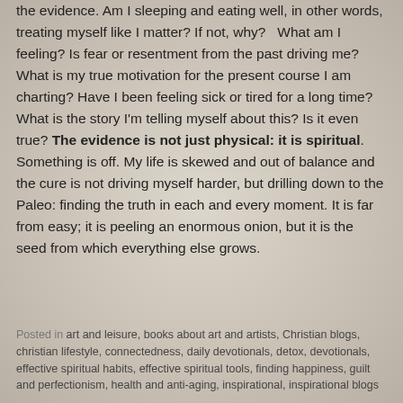the evidence. Am I sleeping and eating well, in other words, treating myself like I matter? If not, why?   What am I feeling? Is fear or resentment from the past driving me? What is my true motivation for the present course I am charting? Have I been feeling sick or tired for a long time? What is the story I'm telling myself about this? Is it even true? The evidence is not just physical: it is spiritual. Something is off. My life is skewed and out of balance and the cure is not driving myself harder, but drilling down to the Paleo: finding the truth in each and every moment. It is far from easy; it is peeling an enormous onion, but it is the seed from which everything else grows.
Posted in art and leisure, books about art and artists, Christian blogs, christian lifestyle, connectedness, daily devotionals, detox, devotionals, effective spiritual habits, effective spiritual tools, finding happiness, guilt and perfectionism, health and anti-aging, inspirational, inspirational blogs